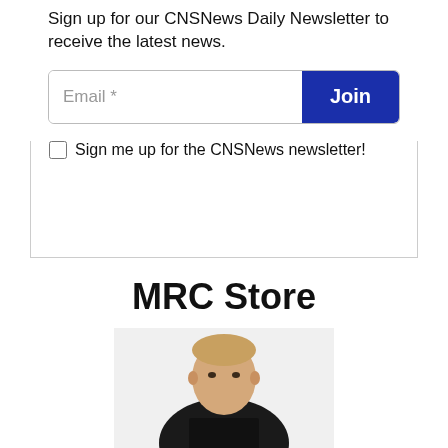Sign up for our CNSNews Daily Newsletter to receive the latest news.
Email *
Join
Sign me up for the CNSNews newsletter!
MRC Store
[Figure (photo): Person wearing a black t-shirt, head and upper torso visible]
[Figure (other): Fiverr advertisement banner with dark background, Fiverr logo in white bold text on left, green Start Now button on right]